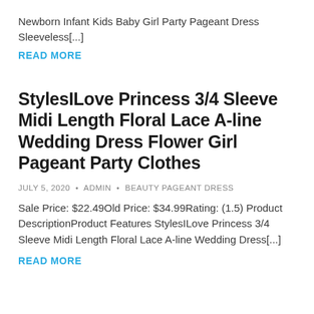Newborn Infant Kids Baby Girl Party Pageant Dress Sleeveless[...]
READ MORE
StylesILove Princess 3/4 Sleeve Midi Length Floral Lace A-line Wedding Dress Flower Girl Pageant Party Clothes
JULY 5, 2020 • ADMIN • BEAUTY PAGEANT DRESS
Sale Price: $22.49Old Price: $34.99Rating: (1.5) Product DescriptionProduct Features StylesILove Princess 3/4 Sleeve Midi Length Floral Lace A-line Wedding Dress[...]
READ MORE